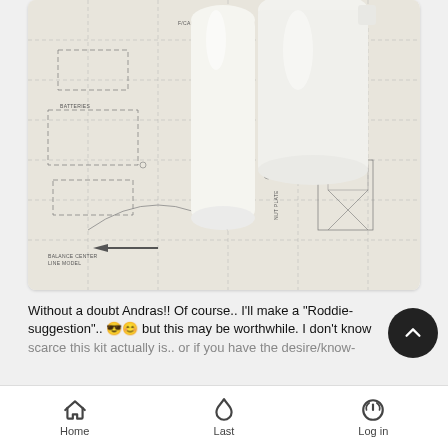[Figure (photo): Close-up photo of white plastic/ceramic parts placed on top of an engineering blueprint/schematic drawing. The blueprint shows dashed lines, component labels including 'NUT PLATE', 'BATTERIES', 'BALANCE CENTER', 'LINE MODEL', and various technical drawing elements with an arrow pointing left. The white parts appear glossy and smooth, resting on the printed schematic.]
Without a doubt Andras!! Of course.. I'll make a "Roddie-suggestion".. 😎😊 but this may be worthwhile. I don't know scarce this kit actually is.. or if you have the desire/know-
Home    Last    Log in